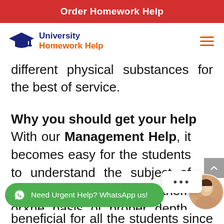Order Homework Help
[Figure (logo): University Homework Help logo with graduation cap icon, navy and orange text]
different physical substances for the best of service.
Why you should get your help now?
With our Management Help, it becomes easy for the students to understand the subject of management and learn them or × he basis of proper depth. Taking [...]ht be beneficial for all the students since we